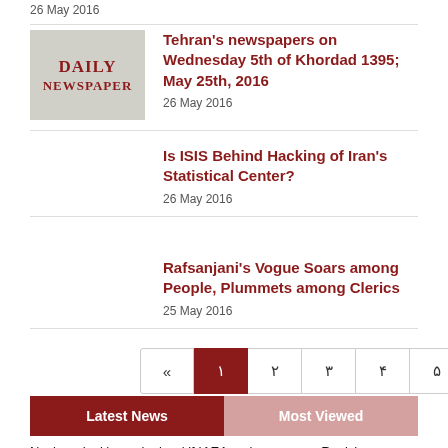26 May 2016
Tehran's newspapers on Wednesday 5th of Khordad 1395; May 25th, 2016 — 26 May 2016
Is ISIS Behind Hacking of Iran's Statistical Center? — 26 May 2016
Rafsanjani's Vogue Soars among People, Plummets among Clerics — 25 May 2016
Pagination: « 1 2 3 4 5 6 7 »
Latest News
Most Viewed
Nuclear deal 'meaningless' if IAEA probe goes on: Raeisi
Diplomat says Iran is serious for a lasting nuclear deal